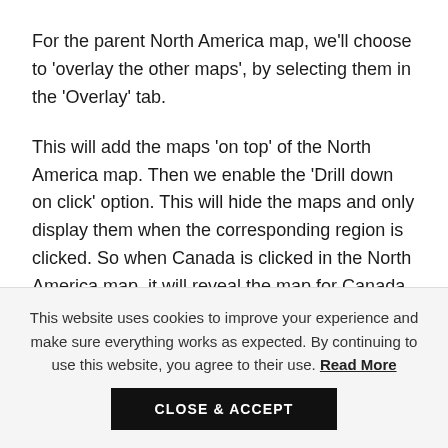For the parent North America map, we'll choose to 'overlay the other maps', by selecting them in the 'Overlay' tab.
This will add the maps 'on top' of the North America map. Then we enable the 'Drill down on click' option. This will hide the maps and only display them when the corresponding region is clicked. So when Canada is clicked in the North America map, it will reveal the map for Canada, part of the overlay collection. The same for the others.
This website uses cookies to improve your experience and make sure everything works as expected. By continuing to use this website, you agree to their use. Read More
CLOSE & ACCEPT